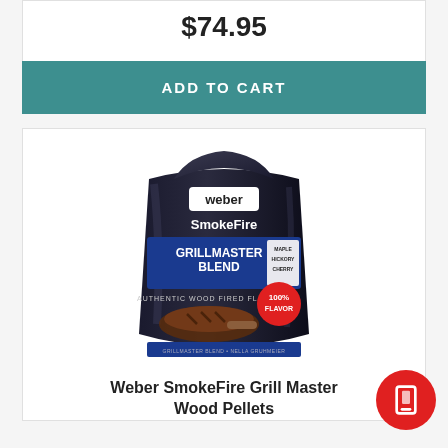$74.95
ADD TO CART
[Figure (photo): Weber SmokeFire GrillMaster Blend wood pellets bag — black bag with blue label reading 'GRILLMASTER BLEND' and 'AUTHENTIC WOOD FIRED FLAVOR', 100% flavor badge, showing grilled meat]
Weber SmokeFire Grill Master Wood Pellets